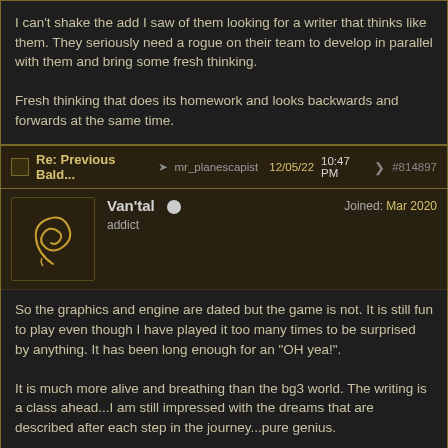I can't shake the add I saw of them looking for a writer that thinks like them. They seriously need a rogue on their team to develop in parallel with them and bring some fresh thinking.

Fresh thinking that does its homework and looks backwards and forwards at the same time.
Re: Previous Bald... mr_planescapist 12/05/22 10:47 PM #814897
Van'tal
addict
Joined: Mar 2020
So the graphics and engine are dated but the game is not. It is still fun to play even though I have played it too many times to be surprised by anything. It has been long enough for an "OH yea!".

It is much more alive and breathing than the bg3 world. The writing is a class ahead...I am still impressed with the dreams that are described after each step in the journey...pure genius.

The villains are even more polite before you kill them.

Great Humor (all characters).

"You point, I punch!" "The squeaky wheel get's the kick" ...gotta love